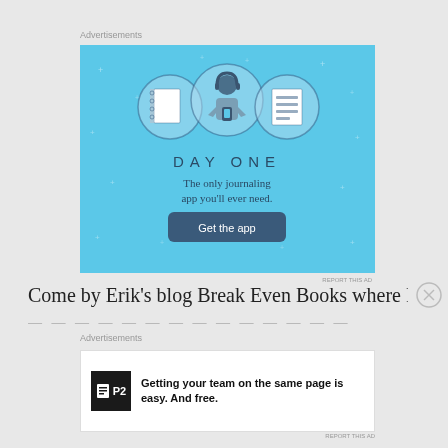Advertisements
[Figure (illustration): Day One journaling app advertisement. Light blue background with plus/star decorations, three circular icons showing a notebook, a person with headphones holding a phone, and a lined document. Text: 'DAY ONE - The only journaling app you'll ever need.' with a dark blue 'Get the app' button.]
REPORT THIS AD
Come by Erik's blog Break Even Books where Fiona
— — — — — — — — — — — — —
Advertisements
[Figure (illustration): P2 advertisement. White background with P2 logo (black square with white grid icon and P2 text). Ad text: 'Getting your team on the same page is easy. And free.']
REPORT THIS AD